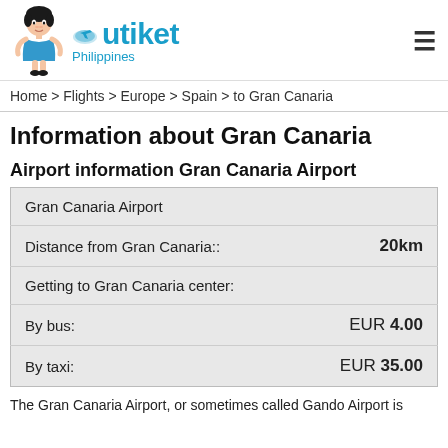[Figure (logo): Utiket Philippines logo with mascot character and airplane cloud icon]
Home > Flights > Europe > Spain > to Gran Canaria
Information about Gran Canaria
Airport information Gran Canaria Airport
| Gran Canaria Airport |  |
| --- | --- |
| Distance from Gran Canaria:: | 20km |
| Getting to Gran Canaria center: |  |
| By bus: | EUR 4.00 |
| By taxi: | EUR 35.00 |
The Gran Canaria Airport, or sometimes called Gando Airport is